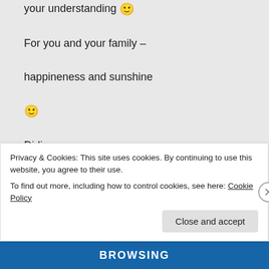your understanding 🙂
For you and your family –
happineness and sunshine
🙂
Didi
★ Like
Log in to Reply
Sakshi Shreya on
Privacy & Cookies: This site uses cookies. By continuing to use this website, you agree to their use.
To find out more, including how to control cookies, see here: Cookie Policy
Close and accept